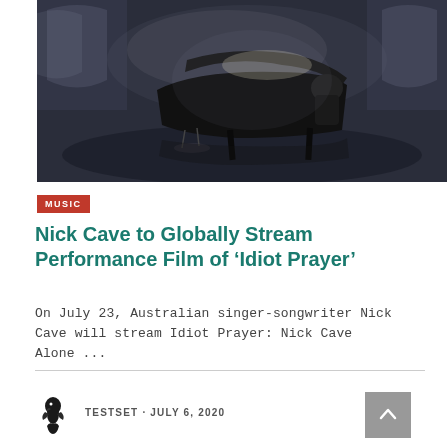[Figure (photo): A person seated at a grand piano in a large dim hall with arched windows, dramatic moody lighting with blue-grey atmosphere]
MUSIC
Nick Cave to Globally Stream Performance Film of ‘Idiot Prayer’
On July 23, Australian singer-songwriter Nick Cave will stream Idiot Prayer: Nick Cave Alone ...
TESTSET · JULY 6, 2020